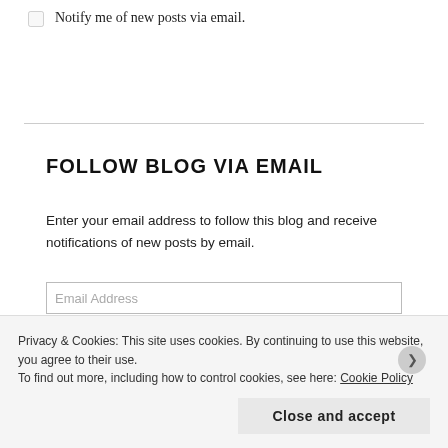Notify me of new posts via email.
FOLLOW BLOG VIA EMAIL
Enter your email address to follow this blog and receive notifications of new posts by email.
Email Address
Privacy & Cookies: This site uses cookies. By continuing to use this website, you agree to their use.
To find out more, including how to control cookies, see here: Cookie Policy
Close and accept